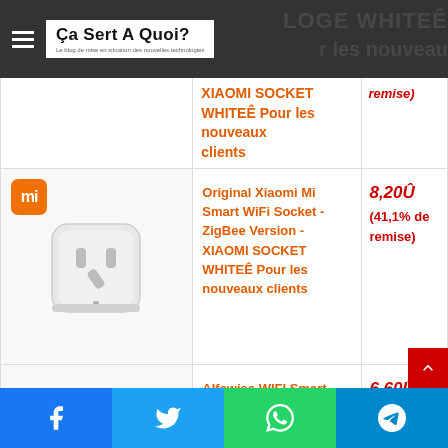Ça Sert A Quoi? — Le blog de mise en situation des nouvelles technologies
| Image | Produit | Prix |
| --- | --- | --- |
| [image partielle] | XIAOMI SOCKET WHITEÊ Pour les nouveaux clients | (remise) |
| [Xiaomi Mi socket image] | Original Xiaomi Mi Smart WiFi Socket - ZigBee Version - XIAOMI SOCKET WHITEÊ Pour les nouveaux clients | 8,20Û (41,1% de remise) |
| [Alfawise plug image] | Alfawise WIFI Smart Plug - EU PLUG WHITEÊ Pour les nouveaux clients | 6,60Û (46,1% de remise) |
Facebook | Twitter | WhatsApp | Telegram